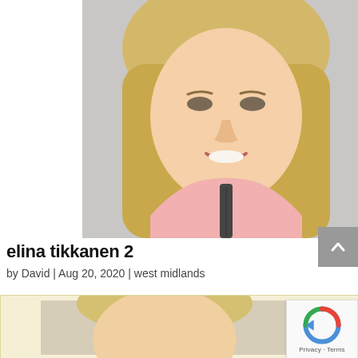[Figure (photo): Portrait photo of a young blonde woman with long straight hair, wearing a pink zip-up top, smiling at the camera against a light grey background.]
elina tikkanen 2
by David | Aug 20, 2020 | west midlands
[Figure (photo): Second photo partially visible at the bottom, showing another portrait with blonde hair against a light background, inside a cream/yellow-tinted frame.]